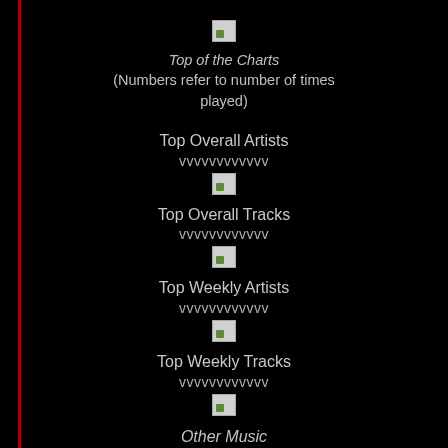[Figure (other): Broken image placeholder icon at top]
Top of the Charts
(Numbers refer to number of times played)
Top Overall Artists
vvvvvvvvvvvv
[Figure (other): Broken image placeholder icon]
Top Overall Tracks
vvvvvvvvvvvv
[Figure (other): Broken image placeholder icon]
Top Weekly Artists
vvvvvvvvvvvv
[Figure (other): Broken image placeholder icon]
Top Weekly Tracks
vvvvvvvvvvvv
[Figure (other): Broken image placeholder icon]
Other Music